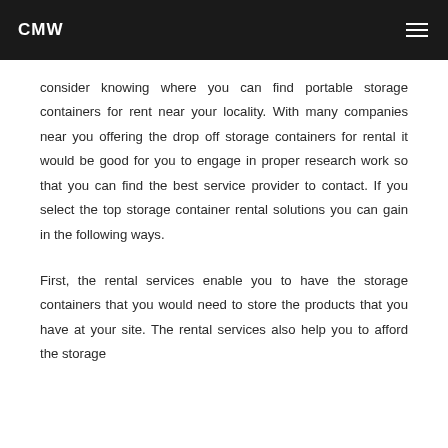CMW
consider knowing where you can find portable storage containers for rent near your locality. With many companies near you offering the drop off storage containers for rental it would be good for you to engage in proper research work so that you can find the best service provider to contact. If you select the top storage container rental solutions you can gain in the following ways.
First, the rental services enable you to have the storage containers that you would need to store the products that you have at your site. The rental services also help you to afford the storage